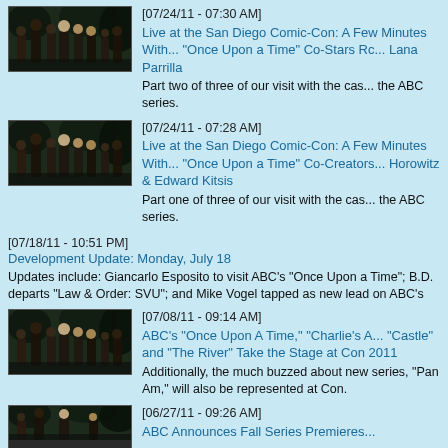[Figure (photo): Thumbnail image of Once Upon a Time cast group photo in dark forest setting]
[07/24/11 - 07:30 AM]
Live at the San Diego Comic-Con: A Few Minutes With... "Once Upon a Time" Co-Stars Rc... Lana Parrilla
Part two of three of our visit with the cast of the ABC series.
[Figure (photo): Thumbnail image of Once Upon a Time cast group photo in dark forest setting]
[07/24/11 - 07:28 AM]
Live at the San Diego Comic-Con: A Few Minutes With... "Once Upon a Time" Co-Creators... Horowitz & Edward Kitsis
Part one of three of our visit with the cast of the ABC series.
[07/18/11 - 10:51 PM]
Development Update: Monday, July 18
Updates include: Giancarlo Esposito to visit ABC's "Once Upon a Time"; B.D. departs "Law & Order: SVU"; and Mike Vogel tapped as new lead on ABC's
[Figure (photo): Thumbnail image of Once Upon a Time cast group photo in dark forest setting]
[07/08/11 - 09:14 AM]
ABC's "Once Upon A Time," "Charlie's A... "Castle" and "The River" Take the Stage at Con 2011
Additionally, the much buzzed about new series, "Pan Am," will also be represented at Con.
[Figure (photo): Thumbnail image of Once Upon a Time cast group photo, partially visible]
[06/27/11 - 09:26 AM]
ABC Announces Fall Series Premieres...